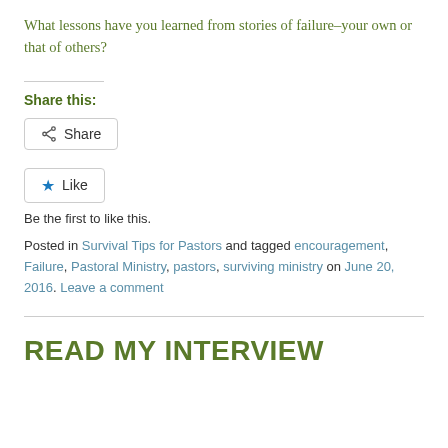What lessons have you learned from stories of failure–your own or that of others?
Share this:
Be the first to like this.
Posted in Survival Tips for Pastors and tagged encouragement, Failure, Pastoral Ministry, pastors, surviving ministry on June 20, 2016. Leave a comment
READ MY INTERVIEW